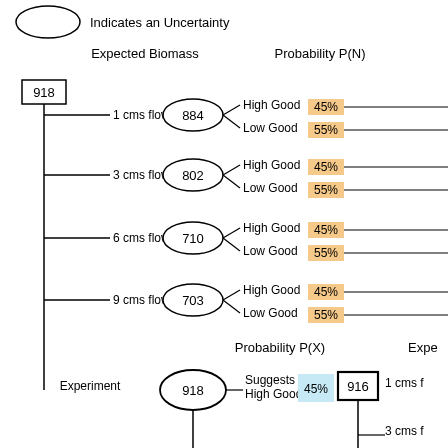[Figure (flowchart): Decision tree / probability flowchart showing Expected Biomass and Probability P(N) for flow scenarios (1, 3, 6, 9 cms flow) with values 884, 802, 710, 703, each branching into High Good 45% and Low Good 55%. Below, an Experiment node with value 918 connects to Probability P(X) with 'Suggests High Good 45%' and an Expected value of 916, branching to 1 cms flow and 3 cms flow (partially visible). An oval labeled 'Indicates an Uncertainty' is shown in legend.]